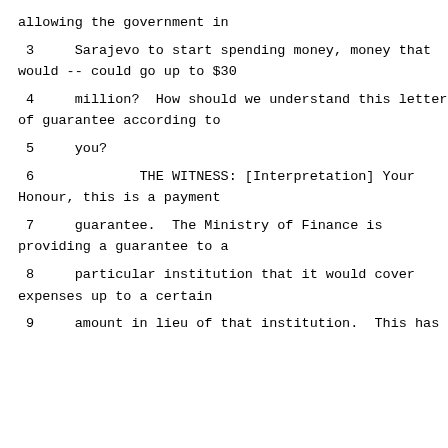allowing the government in
3     Sarajevo to start spending money, money that
would -- could go up to $30
4     million?  How should we understand this letter
of guarantee according to
5     you?
6             THE WITNESS: [Interpretation] Your
Honour, this is a payment
7     guarantee.  The Ministry of Finance is
providing a guarantee to a
8     particular institution that it would cover
expenses up to a certain
9     amount in lieu of that institution.  This has